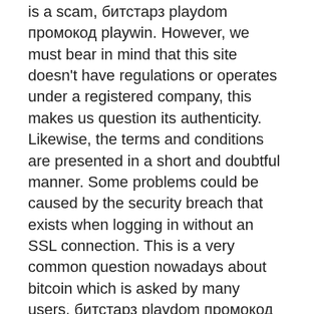is a scam, битстарз playdom промокод playwin. However, we must bear in mind that this site doesn't have regulations or operates under a registered company, this makes us question its authenticity. Likewise, the terms and conditions are presented in a short and doubtful manner. Some problems could be caused by the security breach that exists when logging in without an SSL connection. This is a very common question nowadays about bitcoin which is asked by many users, битстарз playdom промокод playwin. Free Faucet ' high paying bitcoin and altcoin faucets, https www.bitstarz.com ru. Meet the flagship best netent casino of the softswiss platform - bitstarz. The trust rating is 9, and it is one of the most reliable online casinos on. Bitstarz is an excellent online casino featuring excellent games, fast cashout and great support. As one of the most sought-after bitcoin casinos, bitstarz bitcoin casino guarantees it's players a hassle-free gaming